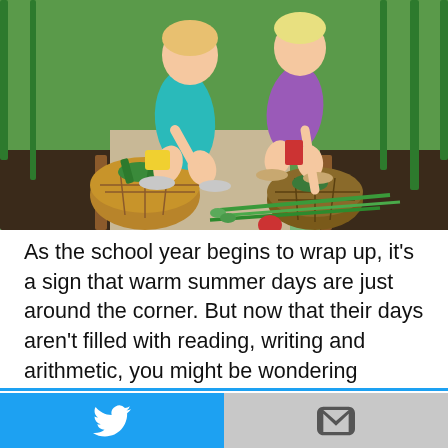[Figure (photo): Two young children crouching in a vegetable garden, picking vegetables into wicker baskets surrounded by green plants and tomato plants]
As the school year begins to wrap up, it's a sign that warm summer days are just around the corner. But now that their days aren't filled with reading, writing and arithmetic, you might be wondering
This website uses cookies.
Accept